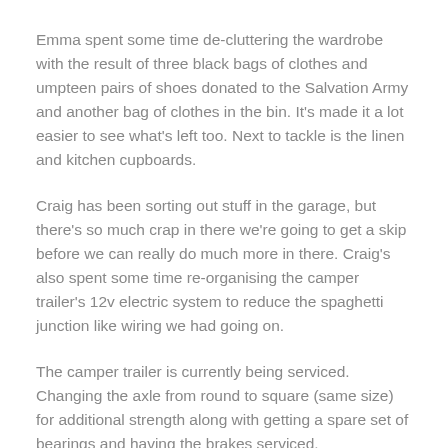Emma spent some time de-cluttering the wardrobe with the result of three black bags of clothes and umpteen pairs of shoes donated to the Salvation Army and another bag of clothes in the bin. It's made it a lot easier to see what's left too. Next to tackle is the linen and kitchen cupboards.
Craig has been sorting out stuff in the garage, but there's so much crap in there we're going to get a skip before we can really do much more in there. Craig's also spent some time re-organising the camper trailer's 12v electric system to reduce the spaghetti junction like wiring we had going on.
The camper trailer is currently being serviced. Changing the axle from round to square (same size) for additional strength along with getting a spare set of bearings and having the brakes serviced.